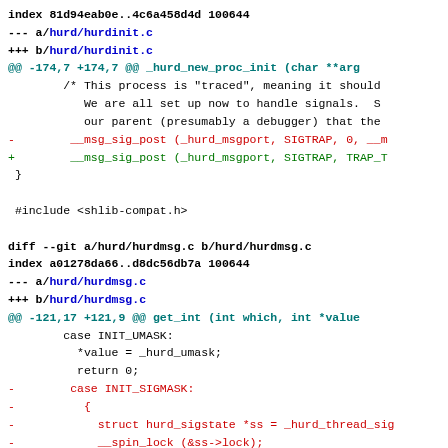index 81d94eab0e..4c6a458d4d 100644
--- a/hurd/hurdinit.c
+++ b/hurd/hurdinit.c
@@ -174,7 +174,7 @@ _hurd_new_proc_init (char **arg
        /* This process is "traced", meaning it should
           We are all set up now to handle signals.  S
           our parent (presumably a debugger) that the
-        __msg_sig_post (_hurd_msgport, SIGTRAP, 0, __m
+        __msg_sig_post (_hurd_msgport, SIGTRAP, TRAP_T
  }

 #include <shlib-compat.h>

diff --git a/hurd/hurdmsg.c b/hurd/hurdmsg.c
index a01278da66..d8dc56db7a 100644
--- a/hurd/hurdmsg.c
+++ b/hurd/hurdmsg.c
@@ -121,17 +121,9 @@ get_int (int which, int *value
        case INIT_UMASK:
          *value = _hurd_umask;
          return 0;
-        case INIT_SIGMASK:
-          {
-            struct hurd_sigstate *ss = _hurd_thread_sig
-            __spin_lock (&ss->lock);
-            *value = ss->blocked;
-            __spin_unlock (&ss->lock);
-            return 0;
-          }
        case INIT_SIGPENDING: